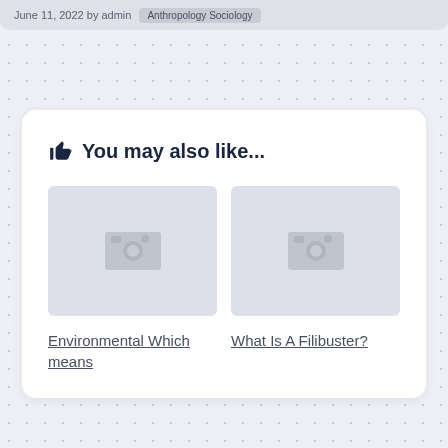June 11, 2022 by admin  Anthropology Sociology
👍 You may also like...
[Figure (illustration): Placeholder image thumbnail for Environmental Which means article]
[Figure (illustration): Placeholder image thumbnail for What Is A Filibuster? article]
Environmental Which means
What Is A Filibuster?